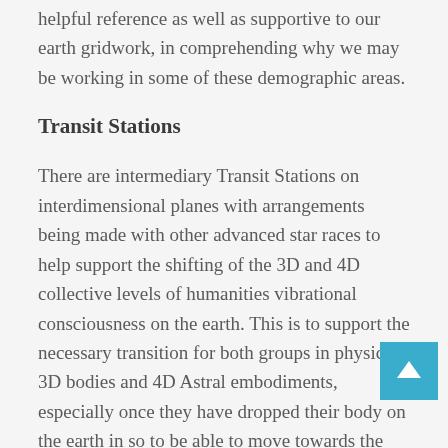helpful reference as well as supportive to our earth gridwork, in comprehending why we may be working in some of these demographic areas.
Transit Stations
There are intermediary Transit Stations on interdimensional planes with arrangements being made with other advanced star races to help support the shifting of the 3D and 4D collective levels of humanities vibrational consciousness on the earth. This is to support the necessary transition for both groups in physical 3D bodies and 4D Astral embodiments, especially once they have dropped their body on the earth in so to be able to move towards the next stage of their higher consciousness growth. Since we are in the